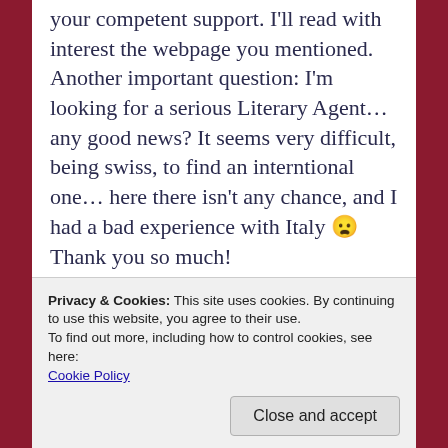your competent support. I'll read with interest the webpage you mentioned. Another important question: I'm looking for a serious Literary Agent… any good news? It seems very difficult, being swiss, to find an interntional one… here there isn't any chance, and I had a bad experience with Italy 😦 Thank you so much! :-)claudine
Privacy & Cookies: This site uses cookies. By continuing to use this website, you agree to their use.
To find out more, including how to control cookies, see here: Cookie Policy
Close and accept